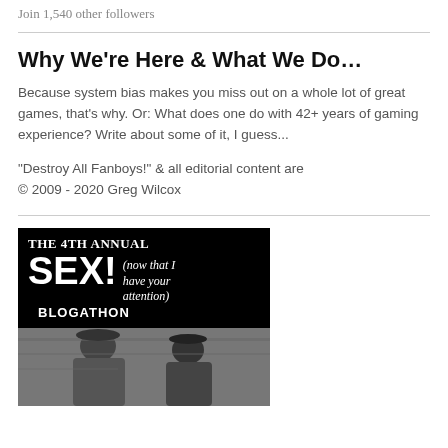Join 1,540 other followers
Why We're Here & What We Do…
Because system bias makes you miss out on a whole lot of great games, that's why. Or: What does one do with 42+ years of gaming experience? Write about some of it, I guess...
"Destroy All Fanboys!" & all editorial content are
© 2009 - 2020 Greg Wilcox
[Figure (illustration): THE 4TH ANNUAL SEX! (now that I have your attention) BLOGATHON banner image with black background and text, below which is a black and white photo of two people]